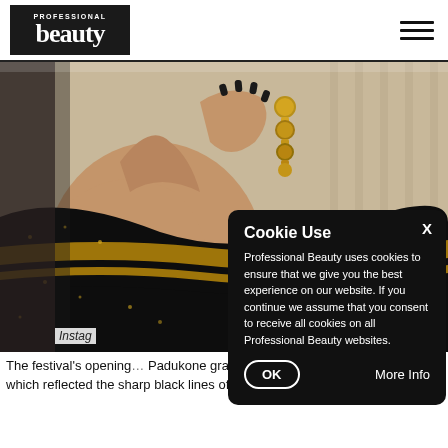Professional Beauty logo and navigation
[Figure (photo): Person wearing a black and gold sequined sari, with hand raised near ear showing gold earrings and black painted nails]
Instag…
Cookie Use — Professional Beauty uses cookies to ensure that we give you the best experience on our website. If you continue we assume that you consent to receive all cookies on all Professional Beauty websites. OK | More Info
The festival's opening… Padukone gra the… which reflected the sharp black lines of her sari. Unlike